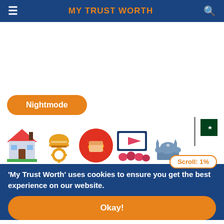MY TRUST WORTH
[Figure (screenshot): White advertisement/content area placeholder]
Nightmode
[Figure (illustration): Row of category icons: house, worker helmet, power fist, cinema/video, mosque/crescent, and Pakistan flag]
Scroll: 1%
'My Trust Worth' uses cookies to ensure you get the best experience on our website.
Okay!